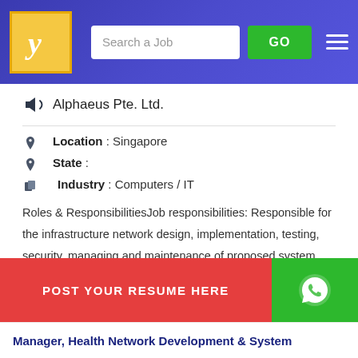[Figure (screenshot): Job portal website header with logo, search bar, GO button, and hamburger menu on a blue gradient background]
Alphaeus Pte. Ltd.
Location : Singapore
State :
Industry : Computers / IT
Roles & ResponsibilitiesJob responsibilities: Responsible for the infrastructure network design, implementation, testing, security, managing and maintenance of proposed system Work closely with Team Leader to meet system delivery milestones Provide technical documentation support to Project & Solutions...
POST YOUR RESUME HERE
Manager, Health Network Development & System